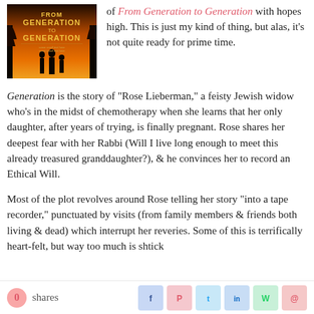[Figure (photo): Book cover of 'From Generation to Generation' with silhouettes of three figures against an orange and red sky with trees]
of From Generation to Generation with hopes high. This is just my kind of thing, but alas, it's not quite ready for prime time.
Generation is the story of “Rose Lieberman,” a feisty Jewish widow who’s in the midst of chemotherapy when she learns that her only daughter, after years of trying, is finally pregnant.  Rose shares her deepest fear with her Rabbi (Will I live long enough to meet this already treasured granddaughter?), & he convinces her to record an Ethical Will.
Most of the plot revolves around Rose telling her story “into a tape recorder,” punctuated by visits (from family members & friends both living & dead) which interrupt her reveries.  Some of this is terrifically heart-felt, but way too much is shtick
0 shares